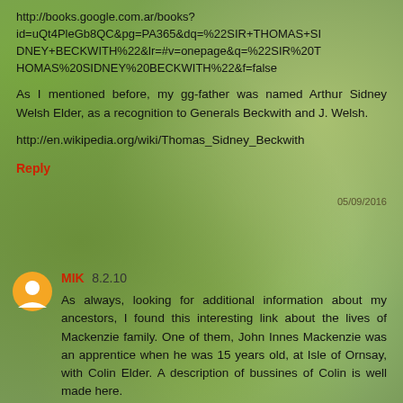http://books.google.com.ar/books?id=uQt4PleGb8QC&pg=PA365&dq=%22SIR+THOMAS+SIDNEY+BECKWITH%22&lr=#v=onepage&q=%22SIR%20THOMAS%20SIDNEY%20BECKWITH%22&f=false
As I mentioned before, my gg-father was named Arthur Sidney Welsh Elder, as a recognition to Generals Beckwith and J. Welsh.
http://en.wikipedia.org/wiki/Thomas_Sidney_Beckwith
Reply
MIK 8.2.10
As always, looking for additional information about my ancestors, I found this interesting link about the lives of Mackenzie family. One of them, John Innes Mackenzie was an apprentice when he was 15 years old, at Isle of Ornsay, with Colin Elder. A description of bussines of Colin is well made here.